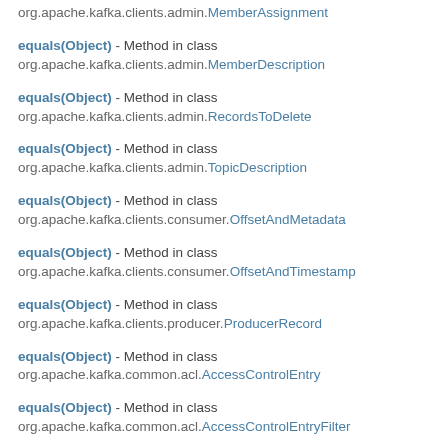org.apache.kafka.clients.admin.MemberAssignment
equals(Object) - Method in class org.apache.kafka.clients.admin.MemberDescription
equals(Object) - Method in class org.apache.kafka.clients.admin.RecordsToDelete
equals(Object) - Method in class org.apache.kafka.clients.admin.TopicDescription
equals(Object) - Method in class org.apache.kafka.clients.consumer.OffsetAndMetadata
equals(Object) - Method in class org.apache.kafka.clients.consumer.OffsetAndTimestamp
equals(Object) - Method in class org.apache.kafka.clients.producer.ProducerRecord
equals(Object) - Method in class org.apache.kafka.common.acl.AccessControlEntry
equals(Object) - Method in class org.apache.kafka.common.acl.AccessControlEntryFilter
equals(Object) - Method in class org.apache.kafka.common.acl.AclBinding